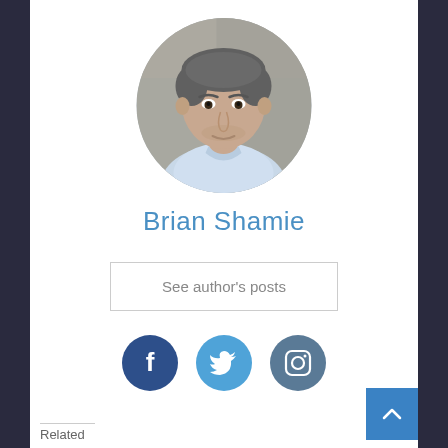[Figure (photo): Circular profile photo of Brian Shamie, a middle-aged man with dark grey hair wearing a light blue button-up shirt, photographed against a blurred stone/wall background.]
Brian Shamie
See author's posts
[Figure (infographic): Three circular social media icons: Facebook (dark blue with f), Twitter (medium blue with bird), Instagram (steel blue with camera outline)]
Related